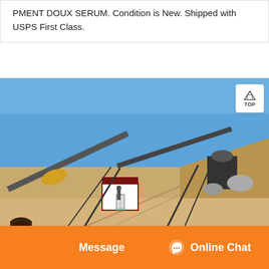PMENT DOUX SERUM. Condition is New. Shipped with USPS First Class.
[Figure (photo): Outdoor industrial site with conveyor belt machinery, a small white building, and sandy terrain under a clear blue sky.]
Message   Online Chat